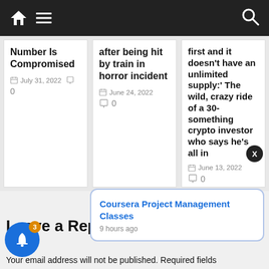Navigation bar with home, menu and search icons
Number Is Compromised
July 31, 2022
0
after being hit by train in horror incident
June 24, 2022
0
first and it doesn't have an unlimited supply:' The wild, crazy ride of a 30-something crypto investor who says he's all in
June 13, 2022
0
Leave a Reply
Coursera Project Management Classes
9 hours ago
Your email address will not be published. Required fields